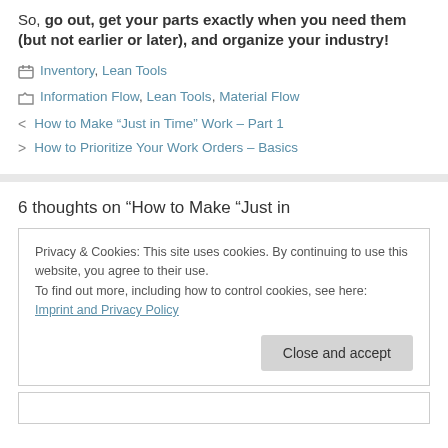So, go out, get your parts exactly when you need them (but not earlier or later), and organize your industry!
Inventory, Lean Tools
Information Flow, Lean Tools, Material Flow
How to Make “Just in Time” Work – Part 1
How to Prioritize Your Work Orders – Basics
6 thoughts on “How to Make “Just in
Privacy & Cookies: This site uses cookies. By continuing to use this website, you agree to their use.
To find out more, including how to control cookies, see here:
Imprint and Privacy Policy